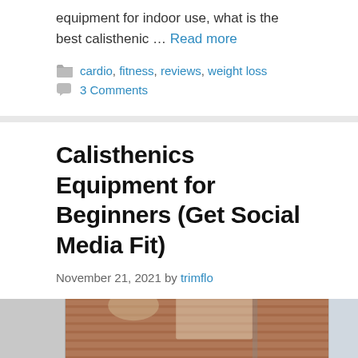equipment for indoor use, what is the best calisthenic … Read more
cardio, fitness, reviews, weight loss
3 Comments
Calisthenics Equipment for Beginners (Get Social Media Fit)
November 21, 2021 by trimflo
[Figure (photo): Outdoor calisthenics equipment or building exterior photo, partially visible, cropped at bottom of page]